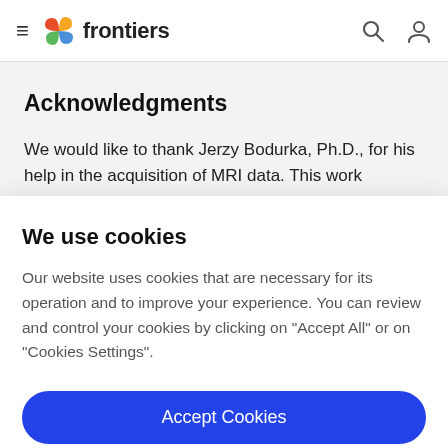frontiers
Acknowledgments
We would like to thank Jerzy Bodurka, Ph.D., for his help in the acquisition of MRI data. This work
We use cookies
Our website uses cookies that are necessary for its operation and to improve your experience. You can review and control your cookies by clicking on "Accept All" or on "Cookies Settings".
Accept Cookies
Cookies Settings